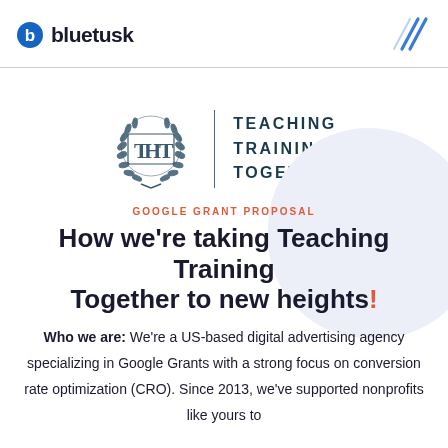bluetusk
[Figure (logo): Teaching Training Together logo with laurel wreath emblem and TTT monogram, with text TEACHING TRAINING TOGETHER]
GOOGLE GRANT PROPOSAL
How we're taking Teaching Training Together to new heights!
Who we are: We're a US-based digital advertising agency specializing in Google Grants with a strong focus on conversion rate optimization (CRO). Since 2013, we've supported nonprofits like yours to